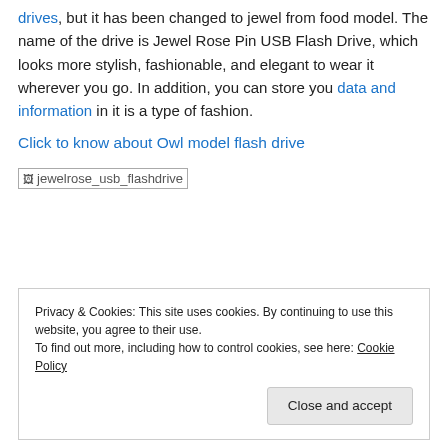drives, but it has been changed to jewel from food model. The name of the drive is Jewel Rose Pin USB Flash Drive, which looks more stylish, fashionable, and elegant to wear it wherever you go. In addition, you can store you data and information in it is a type of fashion.
Click to know about Owl model flash drive
[Figure (photo): Broken image placeholder showing alt text: jewelrose_usb_flashdrive]
Privacy & Cookies: This site uses cookies. By continuing to use this website, you agree to their use. To find out more, including how to control cookies, see here: Cookie Policy